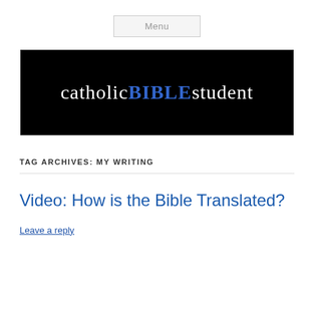Menu
[Figure (logo): Catholic Bible Student logo: black background with white and blue stylized text reading 'catholicBIBLEstudent']
TAG ARCHIVES: MY WRITING
Video: How is the Bible Translated?
Leave a reply